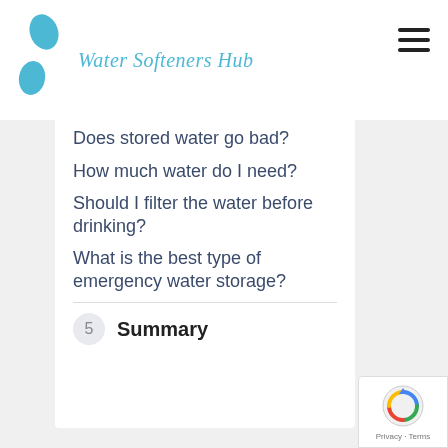Water Softeners Hub
Does stored water go bad?
How much water do I need?
Should I filter the water before drinking?
What is the best type of emergency water storage?
5 Summary